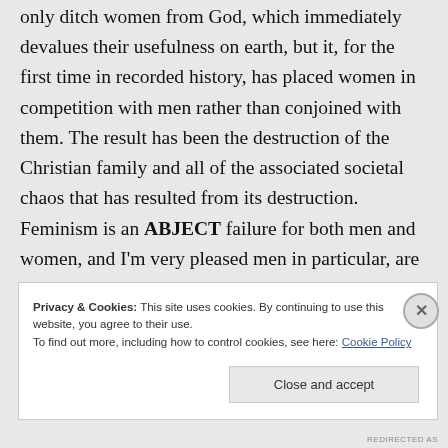only ditch women from God, which immediately devalues their usefulness on earth, but it, for the first time in recorded history, has placed women in competition with men rather than conjoined with them. The result has been the destruction of the Christian family and all of the associated societal chaos that has resulted from its destruction. Feminism is an ABJECT failure for both men and women, and I'm very pleased men in particular, are beginning to
Privacy & Cookies: This site uses cookies. By continuing to use this website, you agree to their use.
To find out more, including how to control cookies, see here: Cookie Policy
Close and accept
REDIRECTED AS